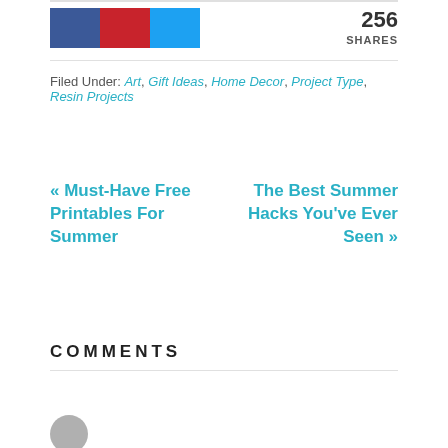[Figure (other): Social sharing icons: Facebook (blue), Pinterest (red), Twitter (light blue) colored rectangles, and share count '256 SHARES' on the right]
Filed Under: Art, Gift Ideas, Home Decor, Project Type, Resin Projects
« Must-Have Free Printables For Summer
The Best Summer Hacks You've Ever Seen »
COMMENTS
[Figure (illustration): Grey avatar circle at bottom left with partial text below]